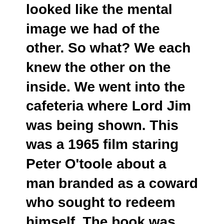looked like the mental image we had of the other. So what? We each knew the other on the inside. We went into the cafeteria where Lord Jim was being shown. This was a 1965 film staring Peter O'toole about a man branded as a coward who sought to redeem himself. The book was written by Joseph Conrad and published in 1900. Jim succeeds in redeeming himself and is true to his